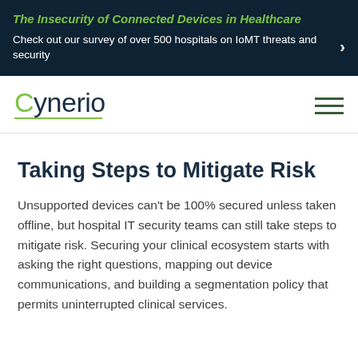[Figure (other): Dark navy banner with italic green title 'The Insecurity of Connected Devices in Healthcare' and white subtitle text about IoMT survey, with white arrow on right]
Cynerio
Taking Steps to Mitigate Risk
Unsupported devices can't be 100% secured unless taken offline, but hospital IT security teams can still take steps to mitigate risk. Securing your clinical ecosystem starts with asking the right questions, mapping out device communications, and building a segmentation policy that permits uninterrupted clinical services.